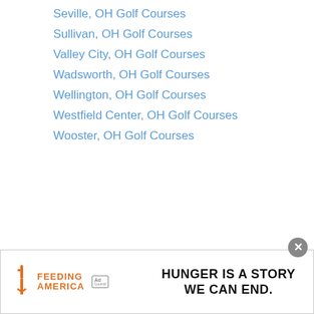Seville, OH Golf Courses
Sullivan, OH Golf Courses
Valley City, OH Golf Courses
Wadsworth, OH Golf Courses
Wellington, OH Golf Courses
Westfield Center, OH Golf Courses
Wooster, OH Golf Courses
[Figure (other): Broken/missing image placeholder icon]
[Figure (other): Advertisement banner: Feeding America - Hunger Is A Story We Can End.]